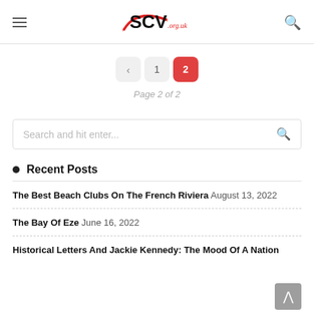SCV.org.uk
< 1 2 — Page 2 of 2
Search and hit enter...
Recent Posts
The Best Beach Clubs On The French Riviera August 13, 2022
The Bay Of Eze June 16, 2022
Historical Letters And Jackie Kennedy: The Mood Of A Nation